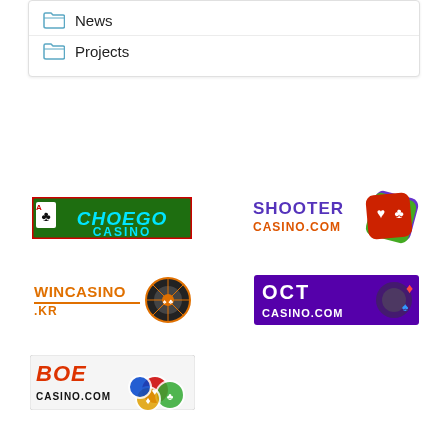News
Projects
[Figure (logo): Choego Casino logo - green background with red border, teal text]
[Figure (logo): Shooter Casino logo - purple text SHOOTER, orange text CASINO.COM, dice icon]
[Figure (logo): WinCasino.KR logo - orange text with roulette wheel graphic]
[Figure (logo): OCT Casino.com logo - purple background with white text, casino elements]
[Figure (logo): BOE Casino.com logo - white background with red BOE text and poker chips]